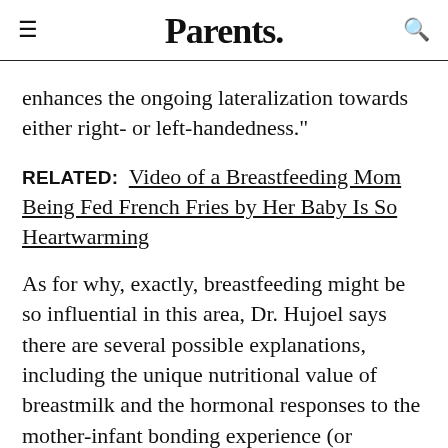Parents.
enhances the ongoing lateralization towards either right- or left-handedness."
RELATED: Video of a Breastfeeding Mom Being Fed French Fries by Her Baby Is So Heartwarming
As for why, exactly, breastfeeding might be so influential in this area, Dr. Hujoel says there are several possible explanations, including the unique nutritional value of breastmilk and the hormonal responses to the mother-infant bonding experience (or something else entirely that researchers haven't figured out yet).
The study also underscores the potential